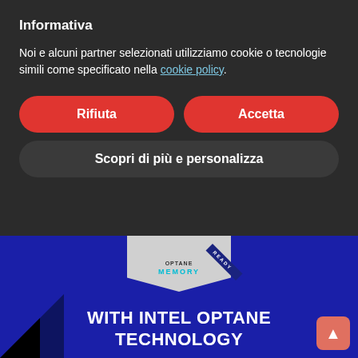Informativa
Noi e alcuni partner selezionati utilizziamo cookie o tecnologie simili come specificato nella cookie policy.
Rifiuta
Accetta
Scopri di più e personalizza
[Figure (screenshot): Advertisement banner for Intel Optane Technology Memory, showing a badge with 'MEMORY READY' text and large white text on dark blue background reading 'WITH INTEL OPTANE TECHNOLOGY']